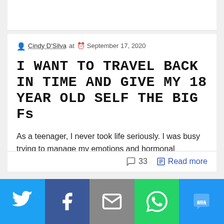Cindy D'Silva at September 17, 2020
I WANT TO TRAVEL BACK IN TIME AND GIVE MY 18 YEAR OLD SELF THE BIG Fs
As a teenager, I never took life seriously. I was busy trying to manage my emotions and hormonal changes. I was angry, rebellious and I instantly […]
33  Read more
[Figure (screenshot): Social media share buttons: Twitter (light blue), Facebook (dark blue), Email (gray), WhatsApp (green), SMS (blue)]